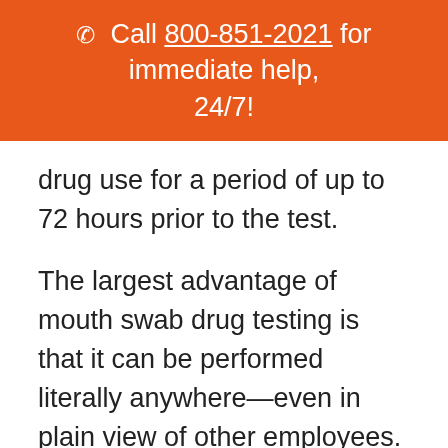☎ Call 800-851-2021 for immediate help, 24/7!
drug use for a period of up to 72 hours prior to the test.
The largest advantage of mouth swab drug testing is that it can be performed literally anywhere—even in plain view of other employees. The test only requires putting a mouth swab between the lower cheek and gum.